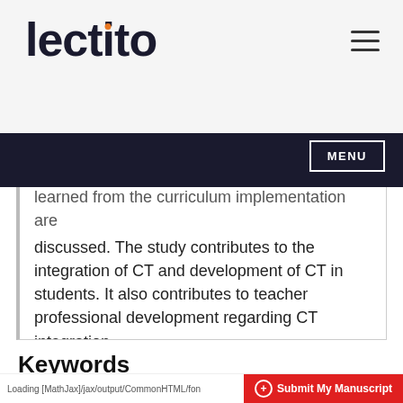lectito [logo with hamburger menu]
MENU
learned from the curriculum implementation are discussed. The study contributes to the integration of CT and development of CT in students. It also contributes to teacher professional development regarding CT integration.
Keywords
computational thinking (CT) , integration of CT , integrated STEM , curriculum design ,
Loading [MathJax]/jax/output/CommonHTML/fon  ⊕ Submit My Manuscript